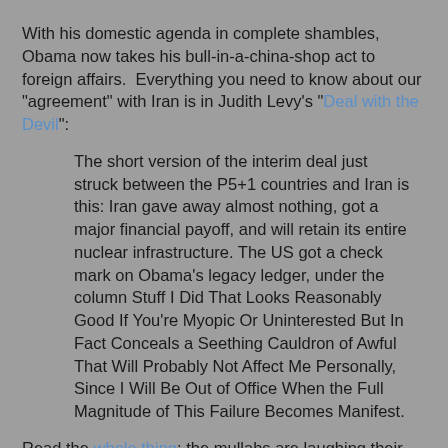With his domestic agenda in complete shambles, Obama now takes his bull-in-a-china-shop act to foreign affairs. Everything you need to know about our "agreement" with Iran is in Judith Levy's "Deal with the Devil":
The short version of the interim deal just struck between the P5+1 countries and Iran is this: Iran gave away almost nothing, got a major financial payoff, and will retain its entire nuclear infrastructure. The US got a check mark on Obama's legacy ledger, under the column Stuff I Did That Looks Reasonably Good If You're Myopic Or Uninterested But In Fact Conceals a Seething Cauldron of Awful That Will Probably Not Affect Me Personally, Since I Will Be Out of Office When the Full Magnitude of This Failure Becomes Manifest.
Read the whole thing: the mullahs are laughing their asses off at us. Iran does not need to stop uranium enrichment, the heavy water reactor at Arak will be unaffected (although